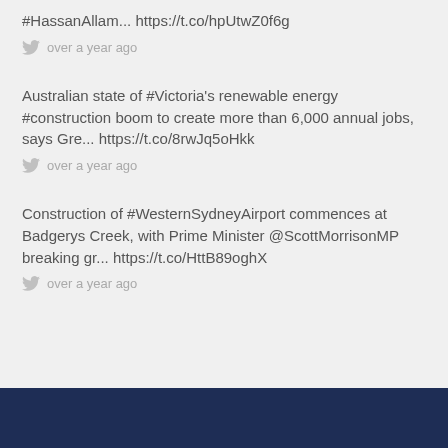#HassanAllam... https://t.co/hpUtwZ0f6g
over a year ago
Australian state of #Victoria's renewable energy #construction boom to create more than 6,000 annual jobs, says Gre... https://t.co/8rwJq5oHkk
over a year ago
Construction of #WesternSydneyAirport commences at Badgerys Creek, with Prime Minister @ScottMorrisonMP breaking gr... https://t.co/HttB89oghX
over a year ago